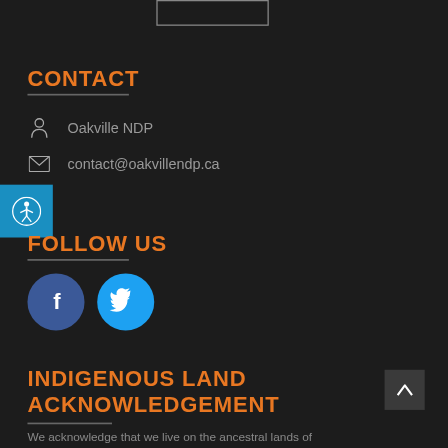[Figure (other): White rectangle outline at top center of page]
CONTACT
Oakville NDP
contact@oakvillendp.ca
[Figure (other): Accessibility icon button - blue circle with person/wheelchair icon]
FOLLOW US
[Figure (other): Facebook logo circle icon (dark blue)]
[Figure (other): Twitter bird logo circle icon (light blue)]
INDIGENOUS LAND ACKNOWLEDGEMENT